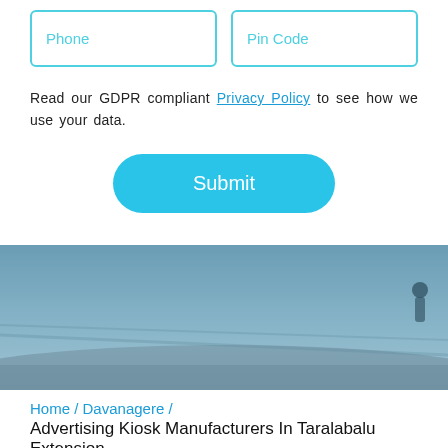[Figure (screenshot): Two input fields side by side: Phone and Pin Code, with cyan borders on white background]
Read our GDPR compliant Privacy Policy to see how we use your data.
[Figure (screenshot): Submit button with cyan rounded pill shape]
[Figure (photo): Blurred outdoor background photo with blue-grey tones]
Home / Davanagere /
Advertising Kiosk Manufacturers In Taralabalu Extension